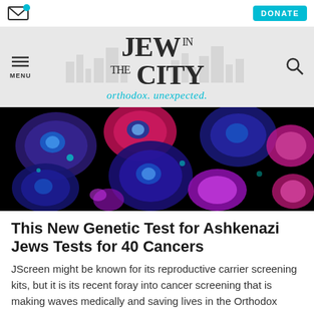Jew in the City – orthodox. unexpected.
[Figure (photo): Fluorescence microscopy image of cells glowing in blue, pink, and red hues against a black background]
This New Genetic Test for Ashkenazi Jews Tests for 40 Cancers
JScreen might be known for its reproductive carrier screening kits, but it is its recent foray into cancer screening that is making waves medically and saving lives in the Orthodox Jewish world. Genetic counselor Estie Rose has